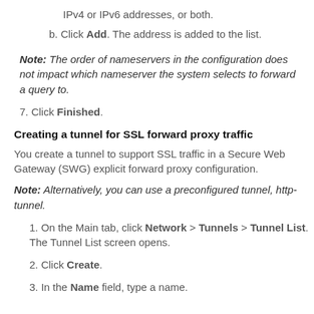IPv4 or IPv6 addresses, or both.
b. Click Add. The address is added to the list.
Note: The order of nameservers in the configuration does not impact which nameserver the system selects to forward a query to.
7. Click Finished.
Creating a tunnel for SSL forward proxy traffic
You create a tunnel to support SSL traffic in a Secure Web Gateway (SWG) explicit forward proxy configuration.
Note: Alternatively, you can use a preconfigured tunnel, http-tunnel.
1. On the Main tab, click Network > Tunnels > Tunnel List. The Tunnel List screen opens.
2. Click Create.
3. In the Name field, type a name.